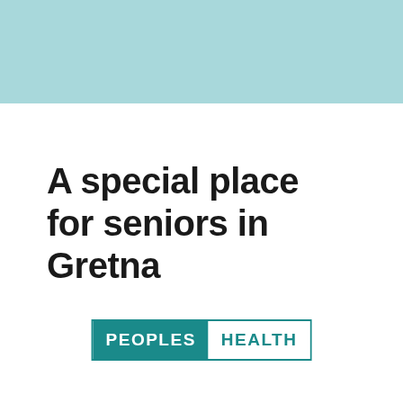[Figure (other): Light teal/aqua colored decorative banner bar across the top of the page]
A special place for seniors in Gretna
[Figure (logo): Peoples Health logo: 'PEOPLES' in white text on teal background, 'HEALTH' in teal text on white background, both enclosed in a teal border rectangle]